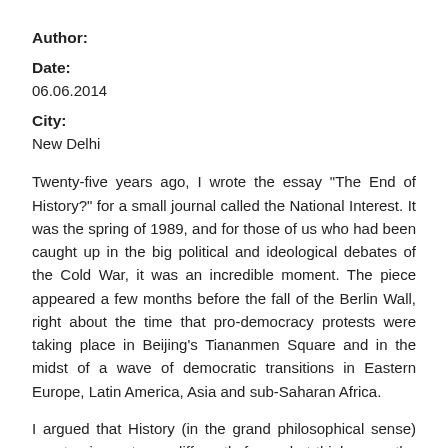Author:
Date:
06.06.2014
City:
New Delhi
Twenty-five years ago, I wrote the essay "The End of History?" for a small journal called the National Interest. It was the spring of 1989, and for those of us who had been caught up in the big political and ideological debates of the Cold War, it was an incredible moment. The piece appeared a few months before the fall of the Berlin Wall, right about the time that pro-democracy protests were taking place in Beijing's Tiananmen Square and in the midst of a wave of democratic transitions in Eastern Europe, Latin America, Asia and sub-Saharan Africa.
I argued that History (in the grand philosophical sense) was turning out very differently from what thinkers on the left had imagined. The process of economic and political modernization